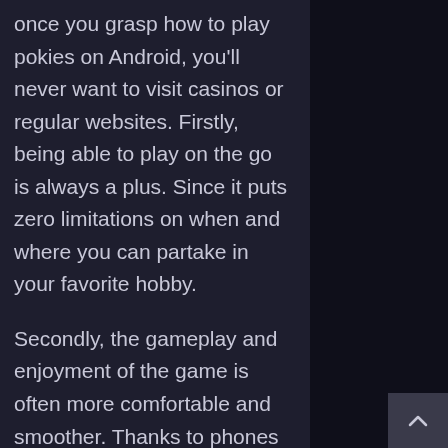once you grasp how to play pokies on Android, you'll never want to visit casinos or regular websites. Firstly, being able to play on the go is always a plus. Since it puts zero limitations on when and where you can partake in your favorite hobby.
Secondly, the gameplay and enjoyment of the game is often more comfortable and smoother. Thanks to phones and tablets having sharper displays, particularly with